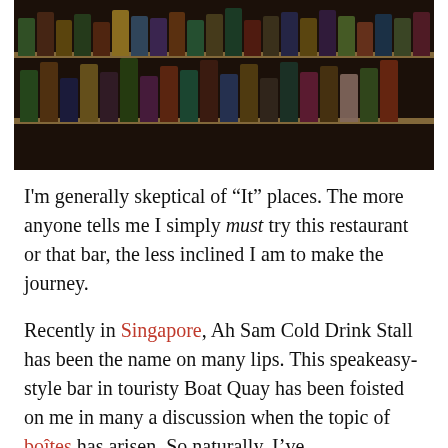[Figure (photo): Photograph of a bar shelf stocked with numerous liquor bottles of various shapes and sizes, shot in dim lighting.]
I'm generally skeptical of “It” places. The more anyone tells me I simply must try this restaurant or that bar, the less inclined I am to make the journey.
Recently in Singapore, Ah Sam Cold Drink Stall has been the name on many lips. This speakeasy-style bar in touristy Boat Quay has been foisted on me in many a discussion when the topic of boîtes has arisen. So naturally, I’ve resisted.